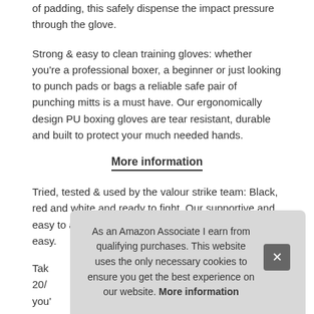of padding, this safely dispense the impact pressure through the glove.
Strong & easy to clean training gloves: whether you're a professional boxer, a beginner or just looking to punch pads or bags a reliable safe pair of punching mitts is a must have. Our ergonomically design PU boxing gloves are tear resistant, durable and built to protect your much needed hands.
More information
Tried, tested & used by the valour strike team: Black, red and white and ready to fight. Our supportive and easy to apply wrist strap makes using the fight gloves easy.
Take ... 20/0 ... you' ...
sparring gloves, boxing gloves for women, kickboxing gloves,
As an Amazon Associate I earn from qualifying purchases. This website uses the only necessary cookies to ensure you get the best experience on our website. More information